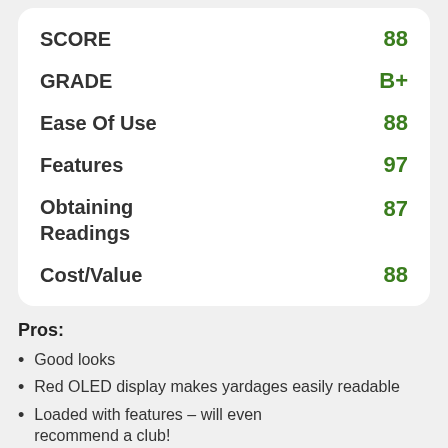|  |  |
| --- | --- |
| SCORE | 88 |
| GRADE | B+ |
| Ease Of Use | 88 |
| Features | 97 |
| Obtaining Readings | 87 |
| Cost/Value | 88 |
Pros:
Good looks
Red OLED display makes yardages easily readable
Loaded with features – will even recommend a club!